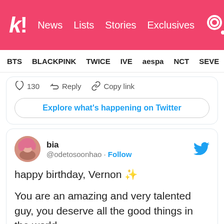kk! News Lists Stories Exclusives [search icon]
BTS  BLACKPINK  TWICE  IVE  aespa  NCT  SEVE
♡ 130  ↩ Reply  🔗 Copy link
Explore what's happening on Twitter
bia @odetosoonhao · Follow
happy birthday, Vernon ✨

You are an amazing and very talented guy, you deserve all the good things in the world.

Thank you for being so wonderful. You have the most beautiful gummy smile, so